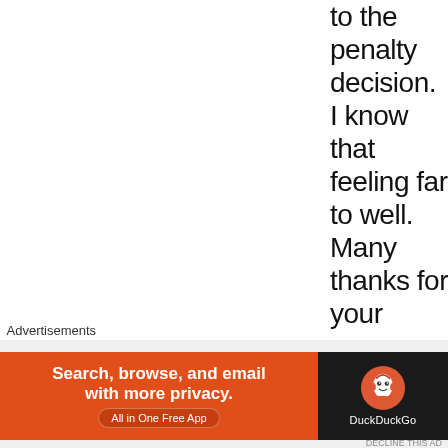to the penalty decision. I know that feeling far to well. Many thanks for your encouragement, I certainly enjoy reading your blog, its certainly
Advertisements
[Figure (infographic): DuckDuckGo advertisement banner: orange left panel with text 'Search, browse, and email with more privacy. All in One Free App' and dark right panel with DuckDuckGo logo and name.]